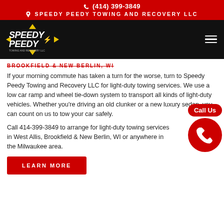(414) 399-3849
SPEEDY PEEDY TOWING AND RECOVERY LLC
[Figure (logo): Speedy Peedy Towing and Recovery LLC logo with yellow arrows pointing up/down and stylized text on dark background]
BROOKFIELD & NEW BERLIN, WI
If your morning commute has taken a turn for the worse, turn to Speedy Peedy Towing and Recovery LLC for light-duty towing services. We use a low car ramp and wheel tie-down system to transport all kinds of light-duty vehicles. Whether you're driving an old clunker or a new luxury sedan, you can count on us to tow your car safely.
Call 414-399-3849 to arrange for light-duty towing services in West Allis, Brookfield & New Berlin, WI or anywhere in the Milwaukee area.
[Figure (illustration): Red Call Us button with phone icon circle]
LEARN MORE